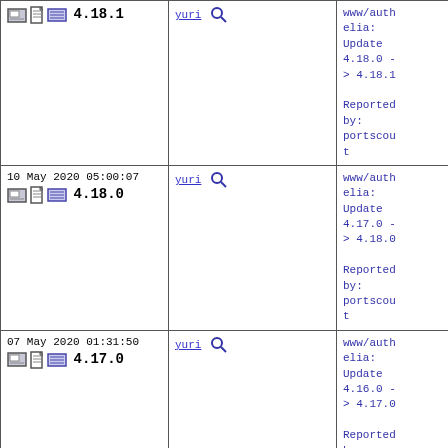| Version/Date | Committer | Description |
| --- | --- | --- |
| 4.18.1 (icons) | yuri (search) | www/authelia: Update 4.18.0 -> 4.18.1

Reported by: portscout |
| 10 May 2020 05:00:07
4.18.0 (icons) | yuri (search) | www/authelia: Update 4.17.0 -> 4.18.0

Reported by: portscout |
| 07 May 2020 01:31:50
4.17.0 (icons) | yuri (search) | www/authelia: Update 4.16.0 -> 4.17.0

Reported by: portscout |